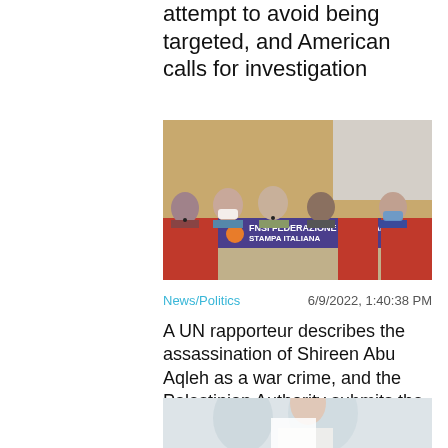attempt to avoid being targeted, and American calls for investigation
[Figure (photo): Panel of people seated at a table with FNSI (Federazione Nazionale Stampa Italiana) signage, some wearing masks, with red posters in the background.]
News/Politics
6/9/2022, 1:40:38 PM
A UN rapporteur describes the assassination of Shireen Abu Aqleh as a war crime, and the Palestinian Authority submits the results of its investigation to the International Criminal Court
[Figure (photo): Woman holding a document or paper, partially cropped at bottom of page.]